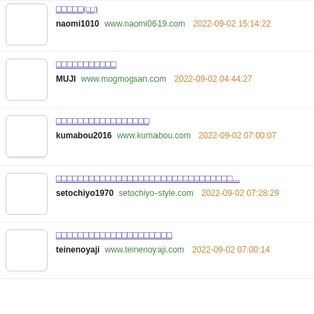naomi1010 www.naomi0619.com 2022-09-02 15:14:22
MUJI www.mogmogsan.com 2022-09-02 04:44:27
kumabou2016 www.kumabou.com 2022-09-02 07:00:07
setochiyo1970 setochiyo-style.com 2022-09-02 07:28:29
teinenoyaji www.teinenoyaji.com 2022-09-02 07:00:14